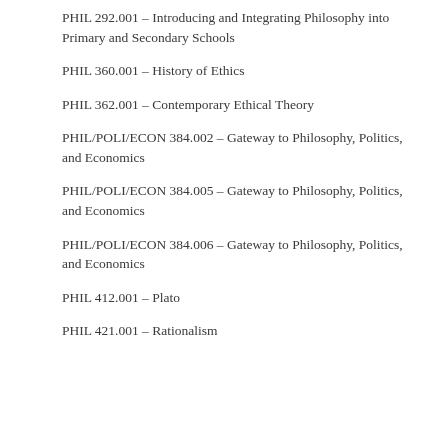PHIL 292.001 – Introducing and Integrating Philosophy into Primary and Secondary Schools
PHIL 360.001 – History of Ethics
PHIL 362.001 – Contemporary Ethical Theory
PHIL/POLI/ECON 384.002 – Gateway to Philosophy, Politics, and Economics
PHIL/POLI/ECON 384.005 – Gateway to Philosophy, Politics, and Economics
PHIL/POLI/ECON 384.006 – Gateway to Philosophy, Politics, and Economics
PHIL 412.001 – Plato
PHIL 421.001 – Rationalism